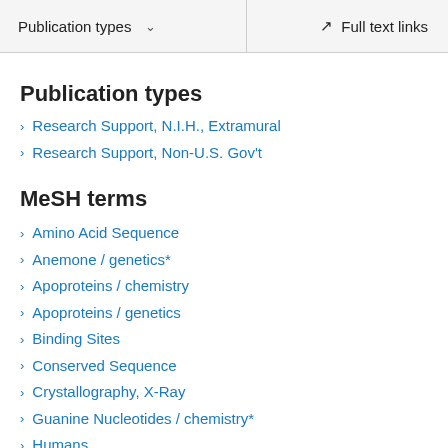Publication types  ∨    Full text links
Publication types
Research Support, N.I.H., Extramural
Research Support, Non-U.S. Gov't
MeSH terms
Amino Acid Sequence
Anemone / genetics*
Apoproteins / chemistry
Apoproteins / genetics
Binding Sites
Conserved Sequence
Crystallography, X-Ray
Guanine Nucleotides / chemistry*
Humans
Membrane Proteins / chemistry*
Membrane Proteins / genetics